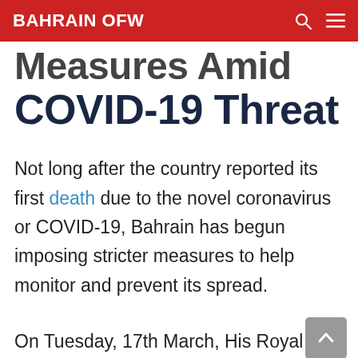BAHRAIN OFW
Measures Amid COVID-19 Threat
Not long after the country reported its first death due to the novel coronavirus or COVID-19, Bahrain has begun imposing stricter measures to help monitor and prevent its spread.
On Tuesday, 17th March, His Royal